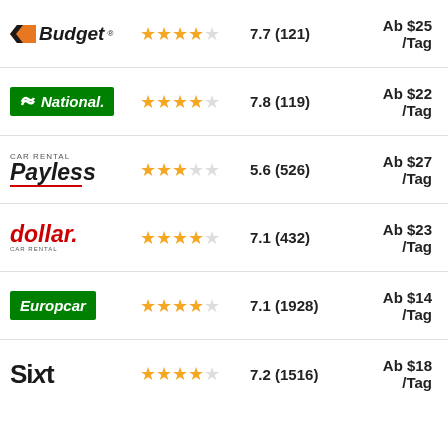Budget — 7.7 (121) — Ab $25 /Tag
National — 7.8 (119) — Ab $22 /Tag
Payless Car Rental — 5.6 (526) — Ab $27 /Tag
dollar. Car Rental — 7.1 (432) — Ab $23 /Tag
Europcar — 7.1 (1928) — Ab $14 /Tag
SIXT — 7.2 (1516) — Ab $18 /Tag